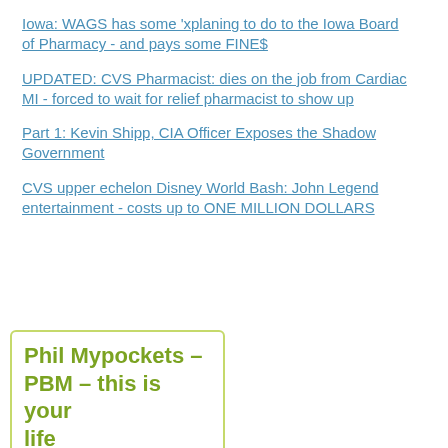Iowa: WAGS has some 'xplaning to do to the Iowa Board of Pharmacy - and pays some FINE$
UPDATED: CVS Pharmacist: dies on the job from Cardiac MI - forced to wait for relief pharmacist to show up
Part 1: Kevin Shipp, CIA Officer Exposes the Shadow Government
CVS upper echelon Disney World Bash: John Legend entertainment - costs up to ONE MILLION DOLLARS
Phil Mypockets – PBM – this is your life
[Figure (photo): Dark image with a partially visible circular shape, likely a person or object in low light]